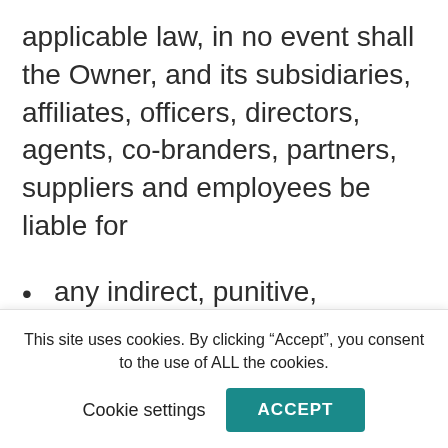applicable law, in no event shall the Owner, and its subsidiaries, affiliates, officers, directors, agents, co-branders, partners, suppliers and employees be liable for
any indirect, punitive, incidental, special, consequential or exemplary damages, including without limitation damages for loss of profits, goodwill, use, data or other intangible losses, arising out of or relating
This site uses cookies. By clicking “Accept”, you consent to the use of ALL the cookies.
Cookie settings    ACCEPT